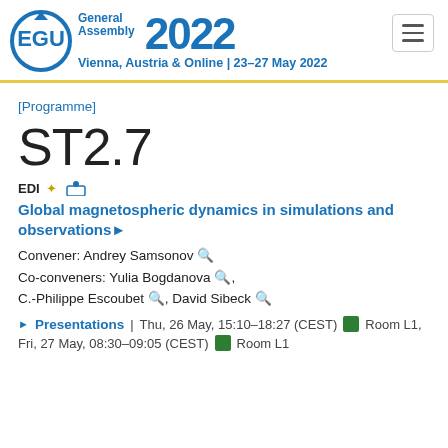[Figure (logo): EGU General Assembly 2022 logo with circular EGU emblem, text 'EGU General Assembly 2022', subtitle 'Vienna, Austria & Online | 23–27 May 2022']
[Programme]
ST2.7
EDI
Global magnetospheric dynamics in simulations and observations
Convener: Andrey Samsonov
Co-conveners: Yulia Bogdanova, C.-Philippe Escoubet, David Sibeck
▸ Presentations | Thu, 26 May, 15:10–18:27 (CEST) ■ Room L1, Fri, 27 May, 08:30–09:05 (CEST) ■ Room L1